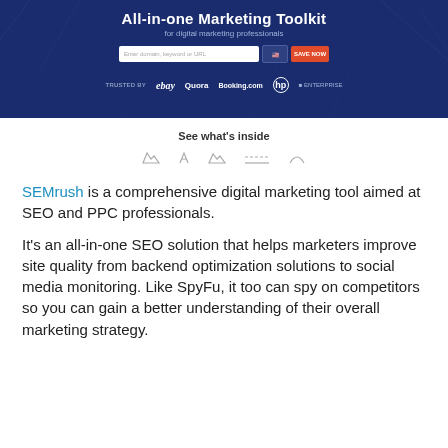[Figure (screenshot): SEMrush website banner showing 'All-in-one Marketing Toolkit for digital marketing professionals' with search bar, save button, and logos of ebay, Quora, Booking.com, HP and other brands on a dark blue background.]
See what's inside
SEMrush is a comprehensive digital marketing tool aimed at SEO and PPC professionals.
It's an all-in-one SEO solution that helps marketers improve site quality from backend optimization solutions to social media monitoring. Like SpyFu, it too can spy on competitors so you can gain a better understanding of their overall marketing strategy.